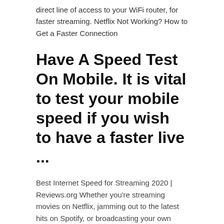direct line of access to your WiFi router, for faster streaming. Netflix Not Working? How to Get a Faster Connection
Have A Speed Test On Mobile. It is vital to test your mobile speed if you wish to have a faster live ...
Best Internet Speed for Streaming 2020 | Reviews.org Whether you're streaming movies on Netflix, jamming out to the latest hits on Spotify, or broadcasting your own livestream on Twitch, your internet speed matters. But not all streaming is created equal—so here's a quick guide to the recommended internet speeds for streaming.
Sep 30, 2019
Beginner's Guide to Streaming on Twitch | by Charlie Deets Feb 07, 2018 Get Faster Streaming on AT&T with the First 5G